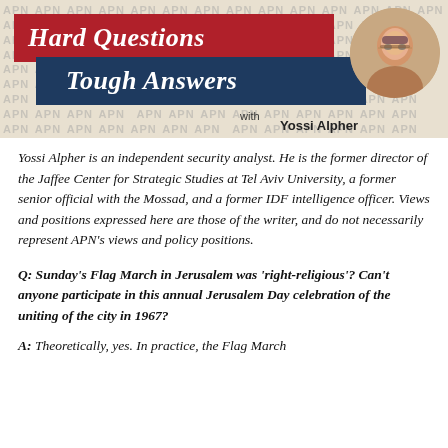[Figure (logo): Hard Questions Tough Answers banner with APN watermark background, red bar with 'Hard Questions', blue bar with 'Tough Answers', and photo of Yossi Alpher with 'with Yossi Alpher' text]
Yossi Alpher is an independent security analyst. He is the former director of the Jaffee Center for Strategic Studies at Tel Aviv University, a former senior official with the Mossad, and a former IDF intelligence officer. Views and positions expressed here are those of the writer, and do not necessarily represent APN's views and policy positions.
Q: Sunday's Flag March in Jerusalem was 'right-religious'? Can't anyone participate in this annual Jerusalem Day celebration of the uniting of the city in 1967?
A: Theoretically, yes. In practice, the Flag March on Jerusalem Day has seen militancy instead of...